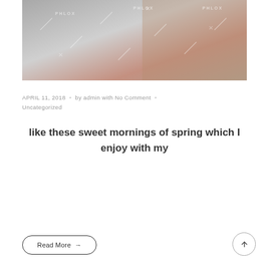[Figure (photo): A black and white photograph with PHLOX watermarks visible, showing a person sitting, with partial color visible on the right side]
APRIL 11, 2018 · by admin with No Comment · Uncategorized
like these sweet mornings of spring which I enjoy with my
Read More →